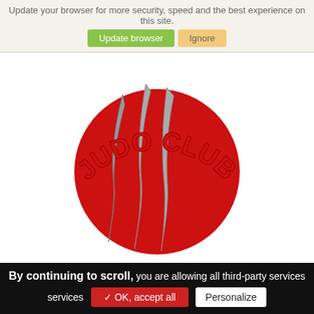Update your browser for more security, speed and the best experience on this site.
Update browser   Ignore
[Figure (logo): Judo Club Barbaran logo: red circle with three gray scratch marks, text 'JUDO CLUB' arched on top in red and 'BARBARAN' arched on bottom in red]
By continuing to scroll, you are allowing all third-party services   ✓ OK, accept all   Personalize